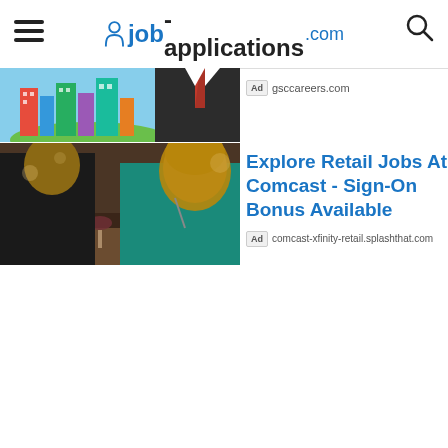job-applications.com
[Figure (photo): Business man in suit with tie holding a model of colorful buildings/real estate on green grass background, partial view]
[Figure (photo): Man in black shirt and woman in teal top dining at a restaurant, smiling, with wine glasses and food]
Ad gsccareers.com
Explore Retail Jobs At Comcast - Sign-On Bonus Available
Ad comcast-xfinity-retail.splashthat.com